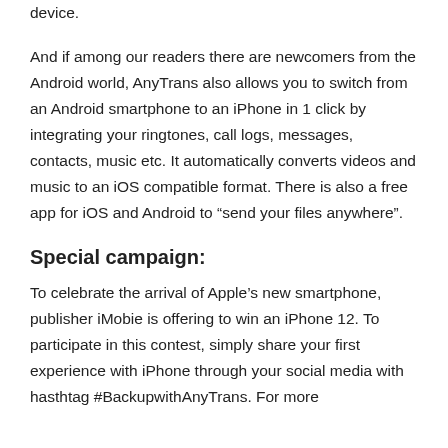device.
And if among our readers there are newcomers from the Android world, AnyTrans also allows you to switch from an Android smartphone to an iPhone in 1 click by integrating your ringtones, call logs, messages, contacts, music etc. It automatically converts videos and music to an iOS compatible format. There is also a free app for iOS and Android to "send your files anywhere".
Special campaign:
To celebrate the arrival of Apple's new smartphone, publisher iMobie is offering to win an iPhone 12. To participate in this contest, simply share your first experience with iPhone through your social media with hasthtag #BackupwithAnyTrans. For more